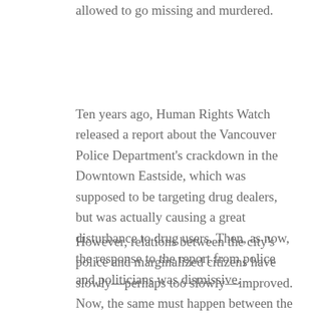allowed to go missing and murdered.
Ten years ago, Human Rights Watch released a report about the Vancouver Police Department’s crackdown in the Downtown Eastside, which was supposed to be targeting drug dealers, but was actually causing a great disturbance to drug users. Then, as now, the response to the report from police and politicians was dismissive.
However, relations between the city’s police and marginalized citizens have slowly—perhaps too slowly—improved. Now, the same must happen between the RCMP and Aboriginal women.